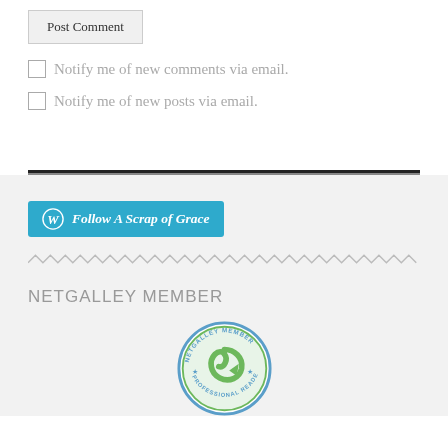Post Comment
Notify me of new comments via email.
Notify me of new posts via email.
[Figure (logo): WordPress Follow A Scrap of Grace button]
[Figure (illustration): Zigzag/wavy divider line]
NETGALLEY MEMBER
[Figure (logo): NetGalley Member Professional Reader circular badge with green swirl logo]